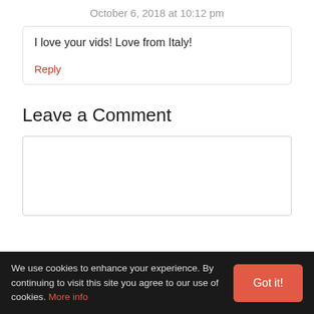October 6, 2018 at 10:12 pm
I love your vids! Love from Italy!
Reply
Leave a Comment
We use cookies to enhance your experience. By continuing to visit this site you agree to our use of cookies. More info